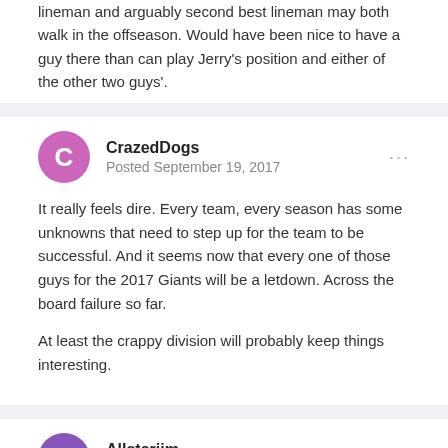lineman and arguably second best lineman may both walk in the offseason. Would have been nice to have a guy there than can play Jerry's position and either of the other two guys'.
CrazedDogs
Posted September 19, 2017
It really feels dire. Every team, every season has some unknowns that need to step up for the team to be successful. And it seems now that every one of those guys for the 2017 Giants will be a letdown. Across the board failure so far.
At least the crappy division will probably keep things interesting.
Allstarjim
Posted September 19, 2017